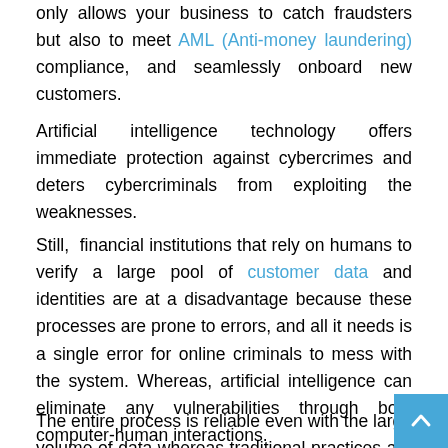only allows your business to catch fraudsters but also to meet AML (Anti-money laundering) compliance, and seamlessly onboard new customers.
Artificial intelligence technology offers immediate protection against cybercrimes and deters cybercriminals from exploiting the weaknesses.
Still, financial institutions that rely on humans to verify a large pool of customer data and identities are at a disadvantage because these processes are prone to errors, and all it needs is a single error for online criminals to mess with the system. Whereas, artificial intelligence can eliminate any vulnerabilities through both computer-human interactions.
The entire process is reliable even with the large volume of data whereas traditional practices are not very well equipped